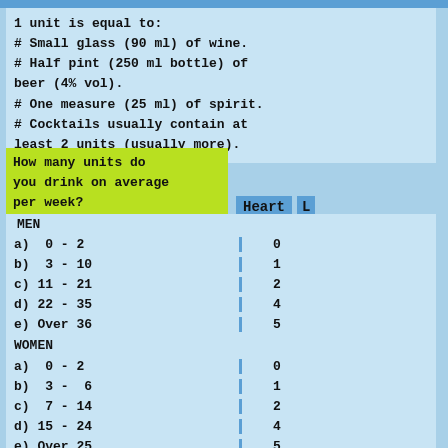1 unit is equal to:
# Small glass (90 ml) of wine.
# Half pint (250 ml bottle) of beer (4% vol).
# One measure (25 ml) of spirit.
# Cocktails usually contain at least 2 units (usually more).
How many units do you drink on average per week?
MEN
a)  0 - 2
b)  3 - 10
c) 11 - 21
d) 22 - 35
e) Over 36
WOMEN
a)  0 - 2
b)  3 -  6
c)  7 - 14
d) 15 - 24
e) Over 25
If you answered d) or e), how many years have you been drinking that much?
a)  0 - 5